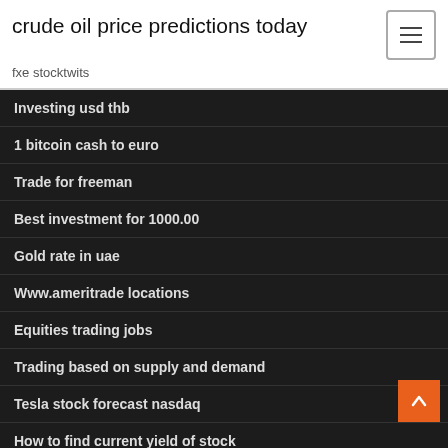crude oil price predictions today
fxe stocktwits
Investing usd thb
1 bitcoin cash to euro
Trade for freeman
Best investment for 1000.00
Gold rate in uae
Www.ameritrade locations
Equities trading jobs
Trading based on supply and demand
Tesla stock forecast nasdaq
How to find current yield of stock